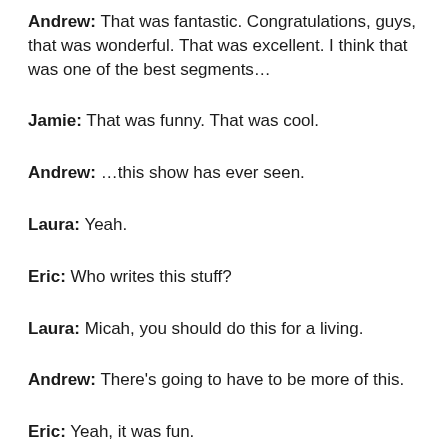Andrew: That was fantastic. Congratulations, guys, that was wonderful. That was excellent. I think that was one of the best segments…
Jamie: That was funny. That was cool.
Andrew: …this show has ever seen.
Laura: Yeah.
Eric: Who writes this stuff?
Laura: Micah, you should do this for a living.
Andrew: There's going to have to be more of this.
Eric: Yeah, it was fun.